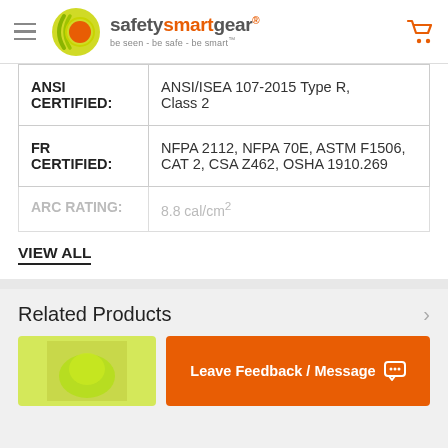safetysmartgear - be seen - be safe - be smart
| Property | Value |
| --- | --- |
| ANSI CERTIFIED: | ANSI/ISEA 107-2015 Type R, Class 2 |
| FR CERTIFIED: | NFPA 2112, NFPA 70E, ASTM F1506, CAT 2, CSA Z462, OSHA 1910.269 |
| ARC RATING: | 8.8 cal/cm² |
VIEW ALL
Related Products
Leave Feedback / Message